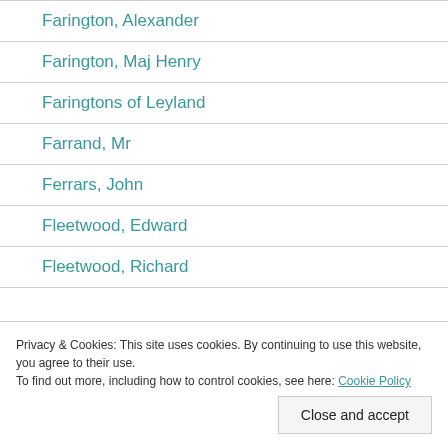Farington, Alexander
Farington, Maj Henry
Faringtons of Leyland
Farrand, Mr
Ferrars, John
Fleetwood, Edward
Fleetwood, Richard
Privacy & Cookies: This site uses cookies. By continuing to use this website, you agree to their use.
To find out more, including how to control cookies, see here: Cookie Policy
Close and accept